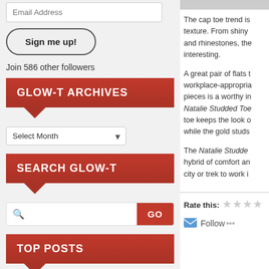Email Address
Sign me up!
Join 586 other followers
GLOW-T ARCHIVES
Select Month
SEARCH GLOW-T
GO
TOP POSTS
How To: Perfect Red Lips
The cap toe trend is texture. From shiny and rhinestones, the interesting.
A great pair of flats t workplace-appropriat pieces is a worthy in Natalie Studded Toe toe keeps the look o while the gold studs
The Natalie Studde hybrid of comfort an city or trek to work i
Rate this:
Follow